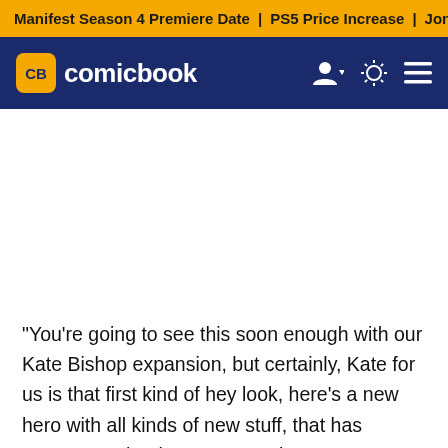Manifest Season 4 Premiere Date | PS5 Price Increase | Jon M
CB comicbook
"You're going to see this soon enough with our Kate Bishop expansion, but certainly, Kate for us is that first kind of hey look, here's a new hero with all kinds of new stuff, that has cutscenes, that has new set pieces," Amos said. "It's a